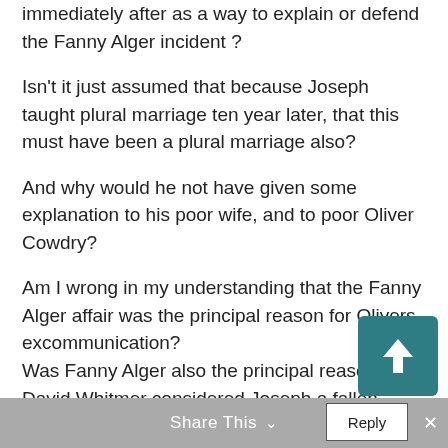immediately after as a way to explain or defend the Fanny Alger incident ? Isn't it just assumed that because Joseph taught plural marriage ten year later, that this must have been a plural marriage also?
And why would he not have given some explanation to his poor wife, and to poor Oliver Cowdry?
Am I wrong in my understanding that the Fanny Alger affair was the principal reason for Olivers excommunication? Was Fanny Alger also the principal reason that David Whitmer considered Joseph a fallen prophet?
Share This  ∨   Reply  ×